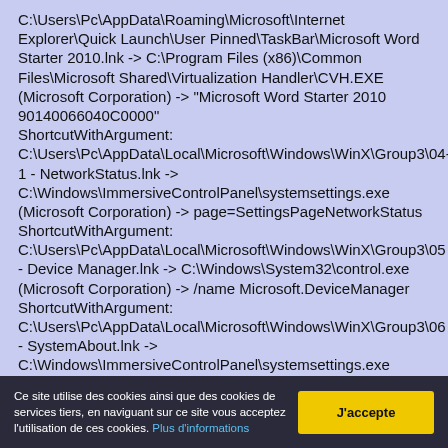C:\Users\Pc\AppData\Roaming\Microsoft\Internet Explorer\Quick Launch\User Pinned\TaskBar\Microsoft Word Starter 2010.lnk -> C:\Program Files (x86)\Common Files\Microsoft Shared\Virtualization Handler\CVH.EXE (Microsoft Corporation) -> "Microsoft Word Starter 2010 90140066040C0000" ShortcutWithArgument: C:\Users\Pc\AppData\Local\Microsoft\Windows\WinX\Group3\04-1 - NetworkStatus.lnk -> C:\Windows\ImmersiveControlPanel\systemsettings.exe (Microsoft Corporation) -> page=SettingsPageNetworkStatus ShortcutWithArgument: C:\Users\Pc\AppData\Local\Microsoft\Windows\WinX\Group3\05 - Device Manager.lnk -> C:\Windows\System32\control.exe (Microsoft Corporation) -> /name Microsoft.DeviceManager ShortcutWithArgument: C:\Users\Pc\AppData\Local\Microsoft\Windows\WinX\Group3\06 - SystemAbout.lnk -> C:\Windows\ImmersiveControlPanel\systemsettings.exe
Ce site utilise des cookies ainsi que des cookies de services tiers, en naviguant sur ce site vous acceptez l'utilisation de ces cookies. Plus d'informations
J'accepte